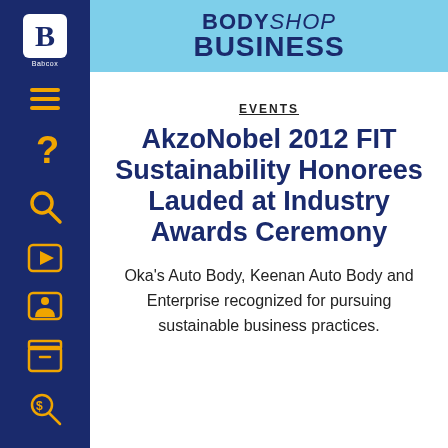BodyShop Business
EVENTS
AkzoNobel 2012 FIT Sustainability Honorees Lauded at Industry Awards Ceremony
Oka's Auto Body, Keenan Auto Body and Enterprise recognized for pursuing sustainable business practices.